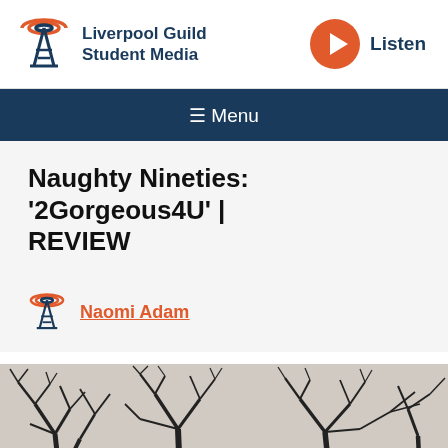Liverpool Guild Student Media | Listen
≡ Menu
Naughty Nineties: '2Gorgeous4U' | REVIEW
Naomi Adam
[Figure (photo): Black and white photo of bare tree branches against a grey sky]